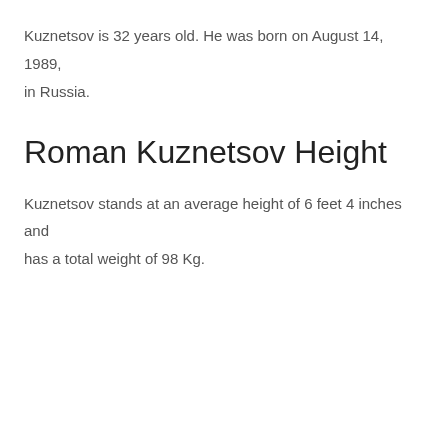Kuznetsov is 32 years old. He was born on August 14, 1989, in Russia.
Roman Kuznetsov Height
Kuznetsov stands at an average height of 6 feet 4 inches and has a total weight of 98 Kg.